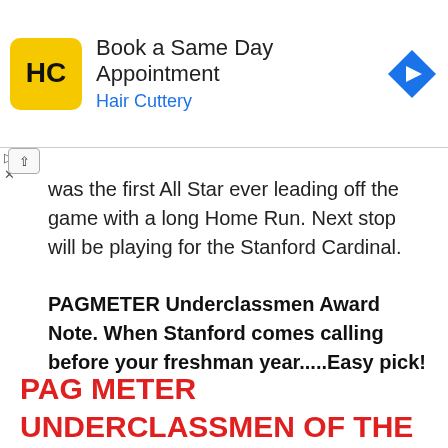[Figure (other): Hair Cuttery advertisement banner with logo and navigation icon. Text: 'Book a Same Day Appointment / Hair Cuttery']
was the first All Star ever leading off the game with a long Home Run. Next stop will be playing for the Stanford Cardinal.
PAGMETER Underclassmen Award Note. When Stanford comes calling before your freshman year.....Easy pick!
PAG METER UNDERCLASSMEN OF THE YEAR